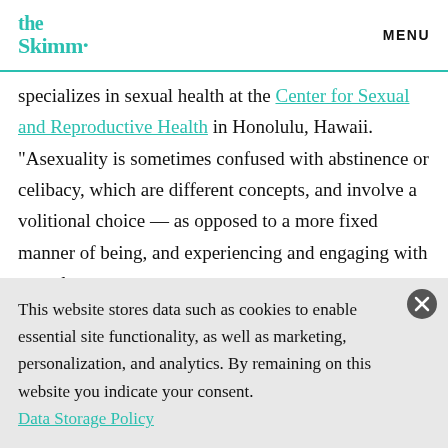the Skimm' | MENU
specializes in sexual health at the Center for Sexual and Reproductive Health in Honolulu, Hawaii. “Asexuality is sometimes confused with abstinence or celibacy, which are different concepts, and involve a volitional choice — as opposed to a more fixed manner of being, and experiencing and engaging with sexual
This website stores data such as cookies to enable essential site functionality, as well as marketing, personalization, and analytics. By remaining on this website you indicate your consent.
Data Storage Policy